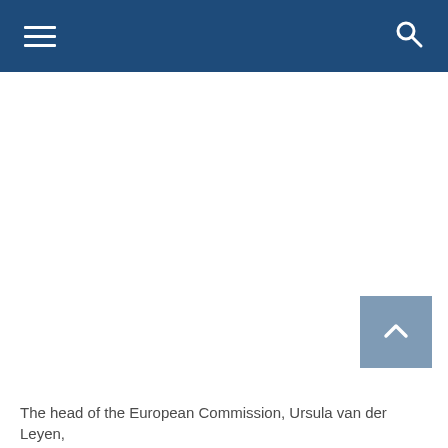Navigation header with hamburger menu and search icon
[Figure (screenshot): White blank content area representing a webpage body with image placeholder]
The head of the European Commission, Ursula van der Leyen,